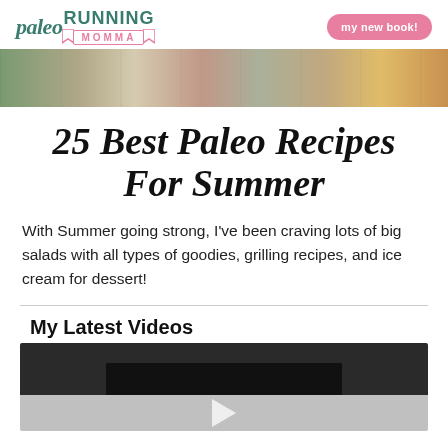paleo RUNNING MOMMA | my new book!
[Figure (photo): Hero banner image collage showing various food dishes including salads and desserts]
25 Best Paleo Recipes For Summer
With Summer going strong, I’ve been craving lots of big salads with all types of goodies, grilling recipes, and ice cream for dessert!
My Latest Videos
[Figure (screenshot): Embedded video player with dark background and play button]